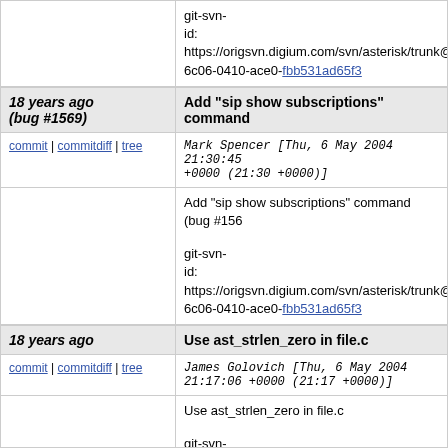git-svn-id: https://origsvn.digium.com/svn/asterisk/trunk@ 6c06-0410-ace0-fbb531ad65f3
18 years ago (bug #1569) | Add "sip show subscriptions" command
commit | commitdiff | tree  Mark Spencer [Thu, 6 May 2004 21:30:45 +0000 (21:30 +0000)]
Add "sip show subscriptions" command (bug #156
git-svn-id: https://origsvn.digium.com/svn/asterisk/trunk@ 6c06-0410-ace0-fbb531ad65f3
18 years ago | Use ast_strlen_zero in file.c
commit | commitdiff | tree  James Golovich [Thu, 6 May 2004 21:17:06 +0000 (21:17 +0000)]
Use ast_strlen_zero in file.c
git-svn-id: https://origsvn.digium.com/svn/asterisk/trunk@ 6c06-0410-ace0-fbb531ad65f3
18 years ago | Use ast_strlen_zero in channel.c